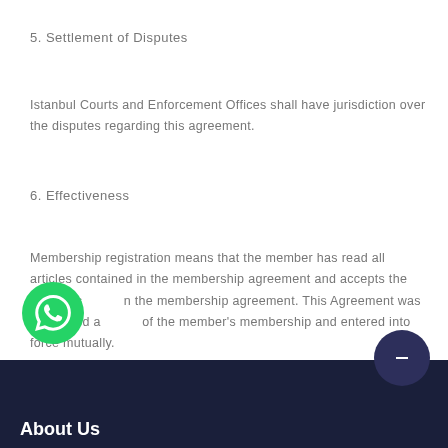5. Settlement of Disputes
Istanbul Courts and Enforcement Offices shall have jurisdiction over the disputes regarding this agreement.
6. Effectiveness
Membership registration means that the member has read all articles contained in the membership agreement and accepts the articles contained in the membership agreement. This Agreement was concluded at the time of the member's membership and entered into force mutually.
About Us